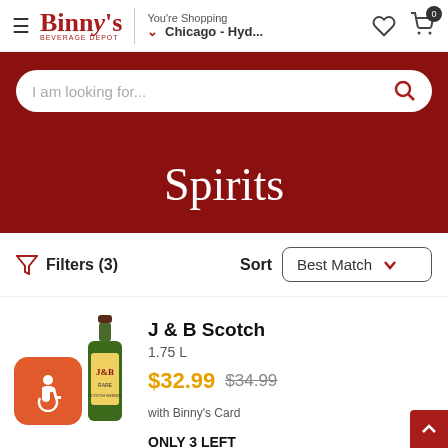Binny's Beverage Depot — You're Shopping Chicago - Hyd...
I am looking for...
Spirits
Filters (3)   Sort   Best Match
J & B Scotch
1.75 L
$32.99  $34.99
with Binny's Card
ONLY 3 LEFT